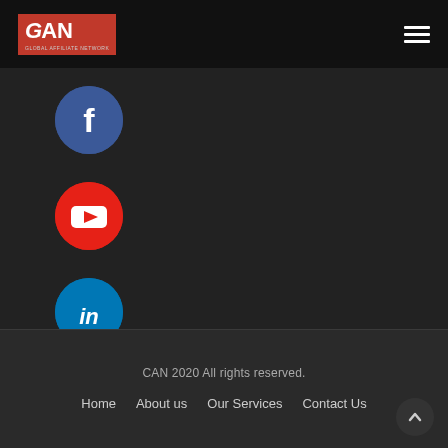GAN logo and hamburger menu navigation bar
[Figure (logo): GAN logo (red background with white text G-AN) on the left, hamburger menu icon (three white horizontal lines) on the right, set on a black navbar]
[Figure (illustration): Facebook icon: blue circle with white lowercase 'f' letter]
[Figure (illustration): YouTube icon: red circle with white play button triangle]
[Figure (illustration): LinkedIn icon: blue circle with white 'in' text]
CAN 2020 All rights reserved.
Home
About us
Our Services
Contact Us